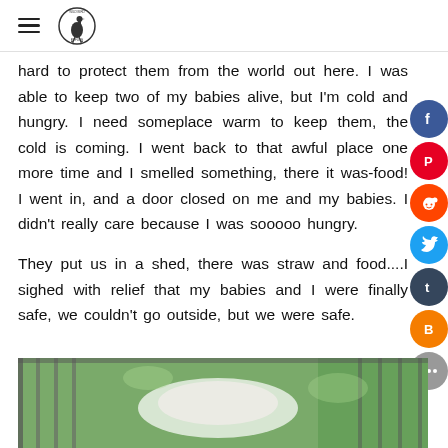[Hamburger menu] [Logo: bird in circle]
hard to protect them from the world out here. I was able to keep two of my babies alive, but I'm cold and hungry. I need someplace warm to keep them, the cold is coming. I went back to that awful place one more time and I smelled something, there it was-food! I went in, and a door closed on me and my babies. I didn't really care because I was sooooo hungry.

They put us in a shed, there was straw and food....I sighed with relief that my babies and I were finally safe, we couldn't go outside, but we were safe.
[Figure (photo): Blurred photograph showing an animal (possibly a bird or small mammal) in an outdoor enclosure with green foliage in the background]